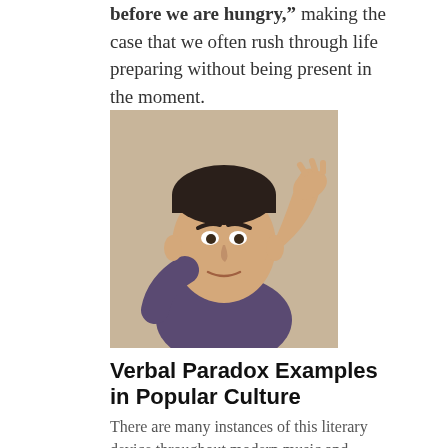…stated, "We are determined to be starved before we are hungry," making the case that we often rush through life preparing without being present in the moment.
[Figure (photo): A man with a confused or puzzled expression, scratching the back of his head with his hand raised over his head, wearing a dark t-shirt, against a beige/tan background.]
Verbal Paradox Examples in Popular Culture
There are many instances of this literary device throughout modern music and movies. A few